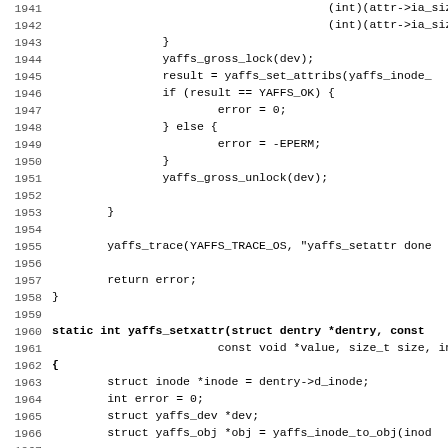[Figure (screenshot): Source code listing in monospace font showing C code for yaffs filesystem functions, lines 1941-1972+, including yaffs_setattr and yaffs_setxattr function implementations.]